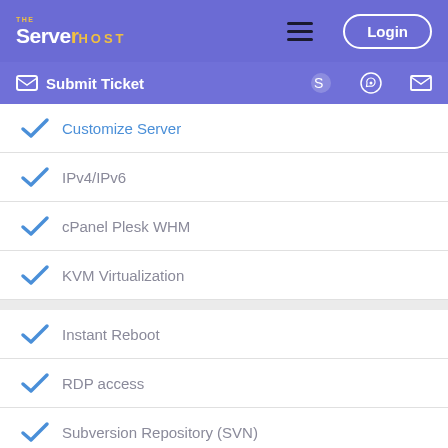TheServerHost – Login | Submit Ticket
Customize Server
IPv4/IPv6
cPanel Plesk WHM
KVM Virtualization
Instant Reboot
RDP access
Subversion Repository (SVN)
rDNS / PTR Records